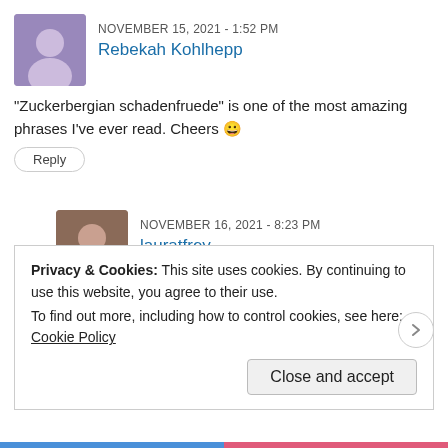NOVEMBER 15, 2021 - 1:52 PM
Rebekah Kohlhepp
“Zuckerbergian schadenfruede” is one of the most amazing phrases I’ve ever read. Cheers 😀
Reply
NOVEMBER 16, 2021 - 8:23 PM
lauratfrey
Ha thanks! I think I spelled schadenfreude incorrectly though, d’oh!
Reply
Privacy & Cookies: This site uses cookies. By continuing to use this website, you agree to their use.
To find out more, including how to control cookies, see here: Cookie Policy
Close and accept